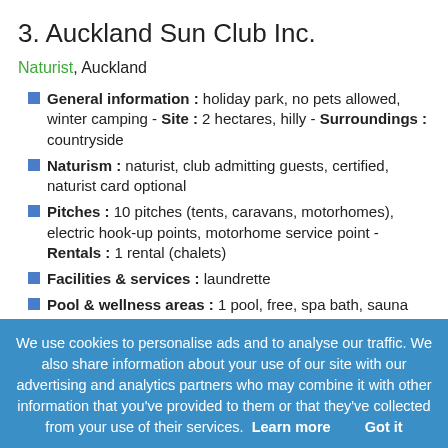3. Auckland Sun Club Inc.
Naturist, Auckland
General information : holiday park, no pets allowed, winter camping - Site : 2 hectares, hilly - Surroundings : countryside
Naturism : naturist, club admitting guests, certified, naturist card optional
Pitches : 10 pitches (tents, caravans, motorhomes), electric hook-up points, motorhome service point - Rentals : 1 rental (chalets)
Facilities & services : laundrette
Pool & wellness areas : 1 pool, free, spa bath, sauna
On-site sports : half-court, boules, table tennis - On-site leisure activities : library, pool table, card games, boardgames - Activities nearby : ten-pin bowling, golf
We use cookies to personalise ads and to analyse our traffic. We also share information about your use of our site with our advertising and analytics partners who may combine it with other information that you've provided to them or that they've collected from your use of their services. Learn more   Got it